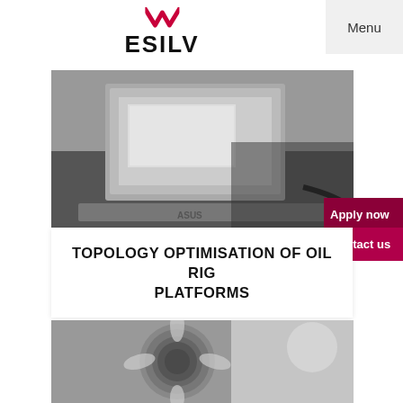ESILV
Menu
[Figure (photo): Black and white photo of an ASUS laptop partially open on a desk]
Apply now
Contact us
TOPOLOGY OPTIMISATION OF OIL RIG PLATFORMS
[Figure (photo): Black and white close-up photo of a sunflower showing its spiral seed pattern]